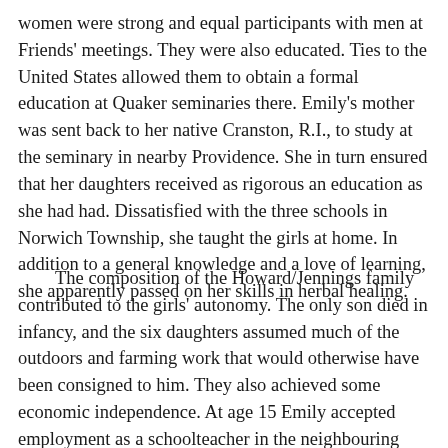women were strong and equal participants with men at Friends' meetings. They were also educated. Ties to the United States allowed them to obtain a formal education at Quaker seminaries there. Emily's mother was sent back to her native Cranston, R.I., to study at the seminary in nearby Providence. She in turn ensured that her daughters received as rigorous an education as she had had. Dissatisfied with the three schools in Norwich Township, she taught the girls at home. In addition to a general knowledge and a love of learning, she apparently passed on her skills in herbal healing.
The composition of the Howard/Jennings family contributed to the girls' autonomy. The only son died in infancy, and the six daughters assumed much of the outdoors and farming work that would otherwise have been consigned to him. They also achieved some economic independence. At age 15 Emily accepted employment as a schoolteacher in the neighbouring town of Summerville, and she taught for seven years.